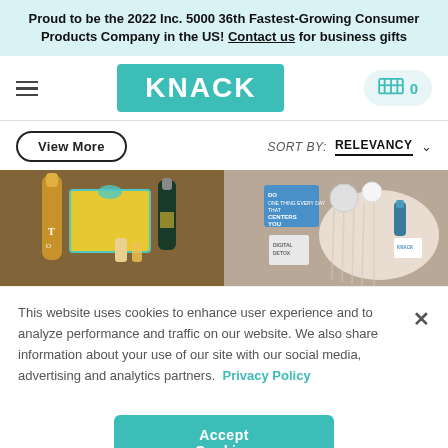Proud to be the 2022 Inc. 5000 36th Fastest-Growing Consumer Products Company in the US! Contact us for business gifts
[Figure (logo): Knack brand logo — white text KNACK on teal background rectangle, hamburger menu icon on left, shopping cart icon with 0 on right]
View More    SORT BY: RELEVANCY ▾
[Figure (photo): Two product gift photos side by side: left shows birthday gift box with champagne bottle and candles; right shows wellness/self-care gift items with knit sweater, skincare products and blue card]
This website uses cookies to enhance user experience and to analyze performance and traffic on our website. We also share information about your use of our site with our social media, advertising and analytics partners. Privacy Policy
Accept Cookies